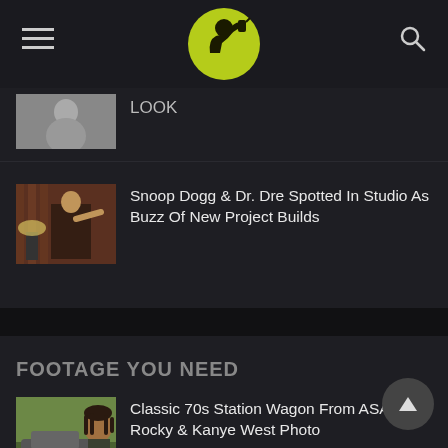[Figure (logo): Drunk Uncle or similar logo: yellow-green circle with black person drinking silhouette icon]
LOOK
[Figure (photo): Thumbnail image related to Snoop Dogg and Dr. Dre studio article]
Snoop Dogg & Dr. Dre Spotted In Studio As Buzz Of New Project Builds
FOOTAGE YOU NEED
[Figure (photo): Thumbnail image of ASAP Rocky for station wagon article]
Classic 70s Station Wagon From ASAP Rocky & Kanye West Photo